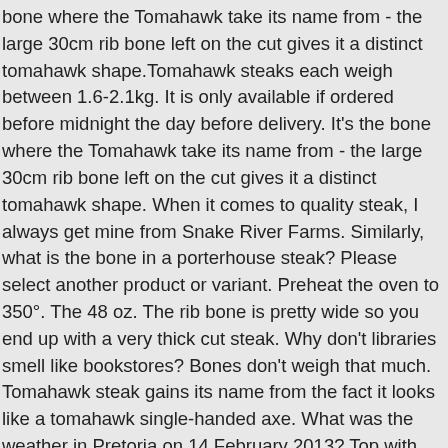bone where the Tomahawk take its name from - the large 30cm rib bone left on the cut gives it a distinct tomahawk shape.Tomahawk steaks each weigh between 1.6-2.1kg. It is only available if ordered before midnight the day before delivery. It's the bone where the Tomahawk take its name from - the large 30cm rib bone left on the cut gives it a distinct tomahawk shape. When it comes to quality steak, I always get mine from Snake River Farms. Similarly, what is the bone in a porterhouse steak? Please select another product or variant. Preheat the oven to 350°. The 48 oz. The rib bone is pretty wide so you end up with a very thick cut steak. Why don't libraries smell like bookstores? Bones don't weigh that much. Tomahawk steak gains its name from the fact it looks like a tomahawk single-handed axe. What was the weather in Pretoria on 14 February 2013? Top with Smoked Sea Salt. They're designed to be brought to the table, then carved and shared between 4 or more people. Please take this into consideration when purchasing. It could also be the perfect time to pull out that bottle of really good red! Flavor-wise,